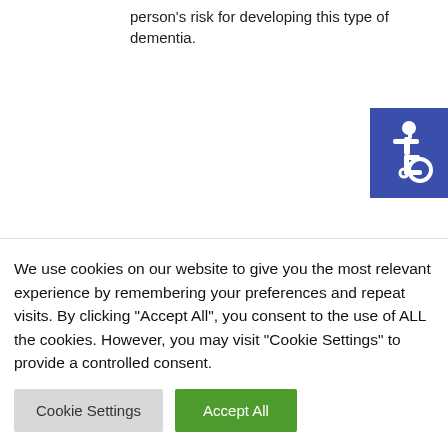person's risk for developing this type of dementia.
[Figure (illustration): Accessibility icon — white wheelchair symbol on blue square background]
FAMILY GENETICS
We use cookies on our website to give you the most relevant experience by remembering your preferences and repeat visits. By clicking "Accept All", you consent to the use of ALL the cookies. However, you may visit "Cookie Settings" to provide a controlled consent.
Cookie Settings | Accept All